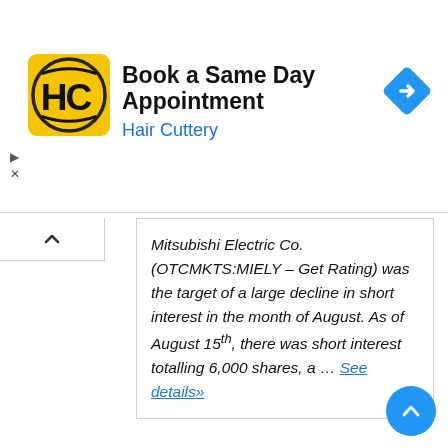[Figure (infographic): Hair Cuttery advertisement banner: logo (HC in yellow square), headline 'Book a Same Day Appointment', subtext 'Hair Cuttery', blue diamond navigation icon on right]
Mitsubishi Electric Co. (OTCMKTS:MIELY – Get Rating) was the target of a large decline in short interest in the month of August. As of August 15th, there was short interest totalling 6,000 shares, a ... See details»
[Figure (infographic): Advertisement for Seasoned Securities Attorneys. Free Consultation. Recover financial losses due to L Bond investments. We fight for investors. investorlawyers.com]